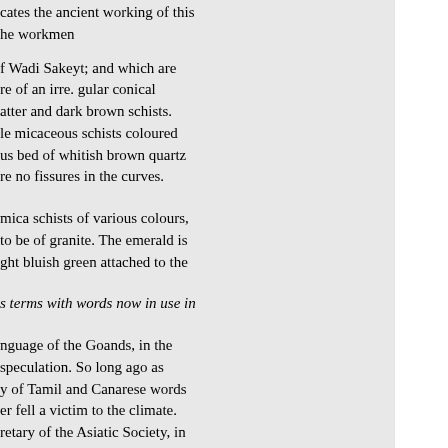cates the ancient working of this
he workmen
f Wadi Sakeyt; and which are
re of an irre. gular conical
atter and dark brown schists.
le micaceous schists coloured
us bed of whitish brown quartz
re no fissures in the curves.
mica schists of various colours,
to be of granite. The emerald is
ght bluish green attached to the
s terms with words now in use in
nguage of the Goands, in the
speculation. So long ago as
y of Tamil and Canarese words
er fell a victim to the climate.
retary of the Asiatic Society, in
e exception of a short list in No.